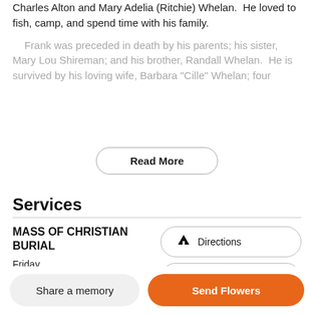Charles Alton and Mary Adelia (Ritchie) Whelan. He loved to fish, camp, and spend time with his family.
Frank was preceded in death by his parents; his sister, Mary Lou Shireman; and his brother, Randall Whelan. He is survived by his loving wife, Barbara "Cille" Whelan; four
Read More
Services
MASS OF CHRISTIAN BURIAL
Friday
June 3, 2022
11:00 AM
Directions
Text Details
Share a memory
Send Flowers